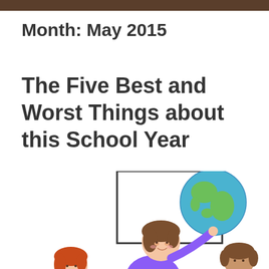Month: May 2015
The Five Best and Worst Things about this School Year
[Figure (illustration): Clipart illustration of children in a classroom: a girl with brown hair wearing a purple shirt pointing to a globe on a stand/whiteboard, a girl with red hair in the lower left, and another child with brown hair in pigtails on the right side.]